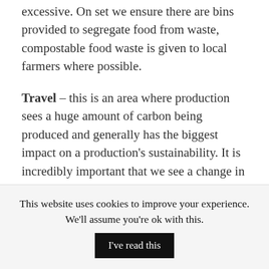excessive. On set we ensure there are bins provided to segregate food from waste, compostable food waste is given to local farmers where possible.
Travel – this is an area where production sees a huge amount of carbon being produced and generally has the biggest impact on a production's sustainability. It is incredibly important that we see a change in the culture of gas guzzling limos ferrying talent to and from the shoot. There must be pressure from the production community to implore talent to share cars where possible
This website uses cookies to improve your experience. We'll assume you're ok with this. I've read this